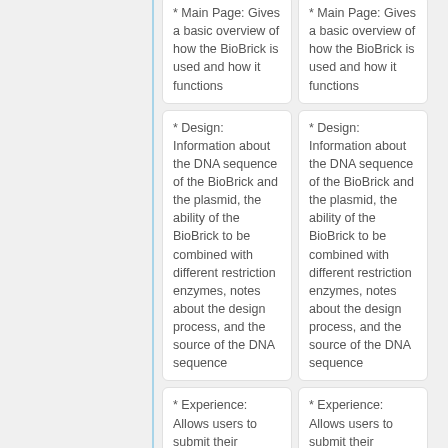* Main Page: Gives a basic overview of how the BioBrick is used and how it functions
* Main Page: Gives a basic overview of how the BioBrick is used and how it functions
* Design: Information about the DNA sequence of the BioBrick and the plasmid, the ability of the BioBrick to be combined with different restriction enzymes, notes about the design process, and the source of the DNA sequence
* Design: Information about the DNA sequence of the BioBrick and the plasmid, the ability of the BioBrick to be combined with different restriction enzymes, notes about the design process, and the source of the DNA sequence
* Experience: Allows users to submit their experiences using
* Experience: Allows users to submit their experiences using